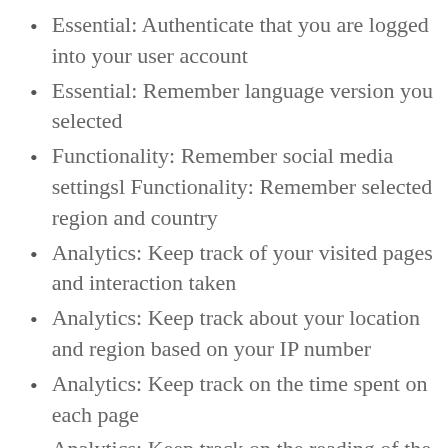Essential: Authenticate that you are logged into your user account
Essential: Remember language version you selected
Functionality: Remember social media settingsl Functionality: Remember selected region and country
Analytics: Keep track of your visited pages and interaction taken
Analytics: Keep track about your location and region based on your IP number
Analytics: Keep track on the time spent on each page
Analytics: Keep track on the reading of the...